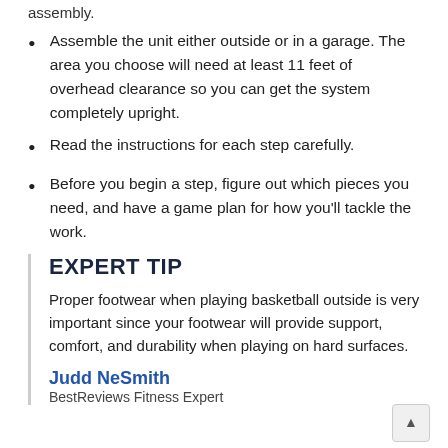assembly.
Assemble the unit either outside or in a garage. The area you choose will need at least 11 feet of overhead clearance so you can get the system completely upright.
Read the instructions for each step carefully.
Before you begin a step, figure out which pieces you need, and have a game plan for how you'll tackle the work.
EXPERT TIP
Proper footwear when playing basketball outside is very important since your footwear will provide support, comfort, and durability when playing on hard surfaces.
Judd NeSmith
BestReviews Fitness Expert